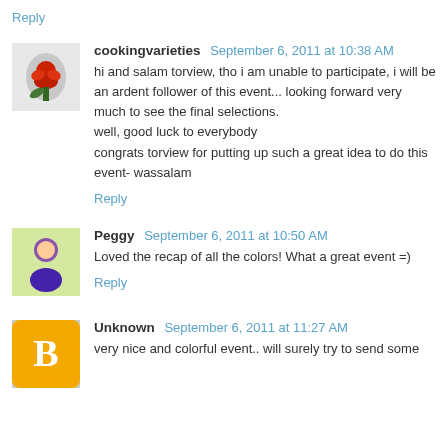Reply
[Figure (photo): Avatar image of cookingvarieties showing a red rose]
cookingvarieties  September 6, 2011 at 10:38 AM
hi and salam torview, tho i am unable to participate, i will be an ardent follower of this event... looking forward very much to see the final selections.
well, good luck to everybody
congrats torview for putting up such a great idea to do this event- wassalam
Reply
[Figure (photo): Avatar image of Peggy showing a person]
Peggy  September 6, 2011 at 10:50 AM
Loved the recap of all the colors! What a great event =)
Reply
[Figure (logo): Avatar image of Unknown showing blogger icon]
Unknown  September 6, 2011 at 11:27 AM
very nice and colorful event.. will surely try to send some